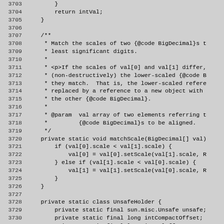Source code listing lines 3703-3733 showing Java methods matchScale and UnsafeHolder class